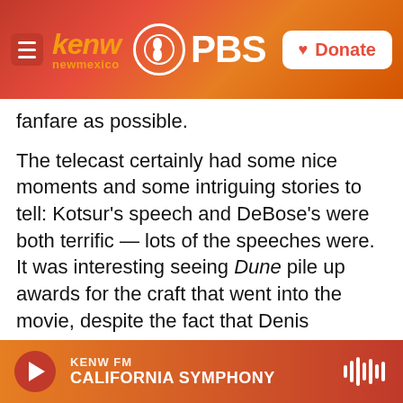kenw newmexico PBS | Donate
fanfare as possible.
The telecast certainly had some nice moments and some intriguing stories to tell: Kotsur's speech and DeBose's were both terrific — lots of the speeches were. It was interesting seeing Dune pile up awards for the craft that went into the movie, despite the fact that Denis Villeneuve, the director who's responsible for coordinating the whole vision, wasn't nominated. Interesting, too, that The Power of the Dog, long considered a potential best picture winner, took home only one of the 12 awards it was nominated for: Jane Campion won best director.
KENW FM | CALIFORNIA SYMPHONY